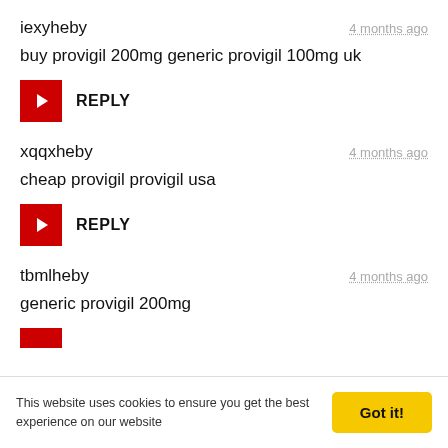iexyheby
4 months ago
buy provigil 200mg generic provigil 100mg uk
REPLY
xqqxheby
4 months ago
cheap provigil provigil usa
REPLY
tbmlheby
4 months ago
generic provigil 200mg
This website uses cookies to ensure you get the best experience on our website
Got it!